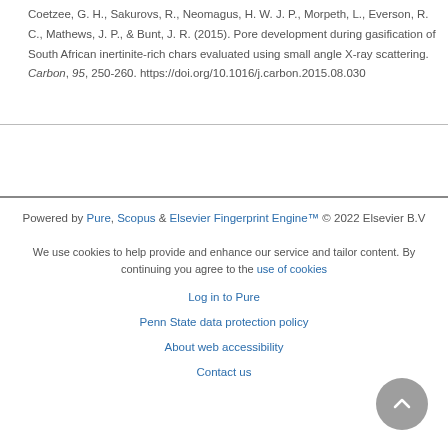Coetzee, G. H., Sakurovs, R., Neomagus, H. W. J. P., Morpeth, L., Everson, R. C., Mathews, J. P., & Bunt, J. R. (2015). Pore development during gasification of South African inertinite-rich chars evaluated using small angle X-ray scattering. Carbon, 95, 250-260. https://doi.org/10.1016/j.carbon.2015.08.030
Powered by Pure, Scopus & Elsevier Fingerprint Engine™ © 2022 Elsevier B.V
We use cookies to help provide and enhance our service and tailor content. By continuing you agree to the use of cookies
Log in to Pure
Penn State data protection policy
About web accessibility
Contact us